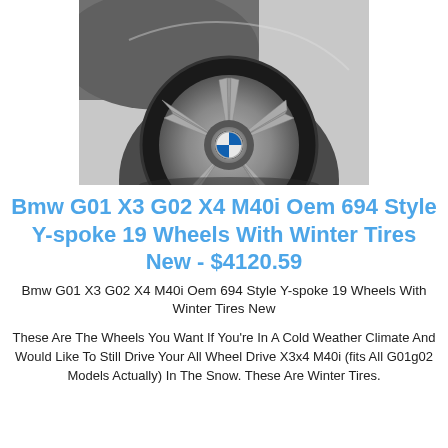[Figure (photo): Grayscale photo of a BMW SUV front wheel/tire with a 5-spoke Y-spoke alloy wheel, close-up shot]
Bmw G01 X3 G02 X4 M40i Oem 694 Style Y-spoke 19 Wheels With Winter Tires New - $4120.59
Bmw G01 X3 G02 X4 M40i Oem 694 Style Y-spoke 19 Wheels With Winter Tires New
These Are The Wheels You Want If You're In A Cold Weather Climate And Would Like To Still Drive Your All Wheel Drive X3x4 M40i (fits All G01g02 Models Actually) In The Snow. These Are Winter Tires.